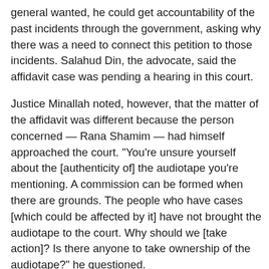general wanted, he could get accountability of the past incidents through the government, asking why there was a need to connect this petition to those incidents. Salahud Din, the advocate, said the affidavit case was pending a hearing in this court.
Justice Minallah noted, however, that the matter of the affidavit was different because the person concerned — Rana Shamim — had himself approached the court. "You're unsure yourself about the [authenticity of] the audiotape you're mentioning. A commission can be formed when there are grounds. The people who have cases [which could be affected by it] have not brought the audiotape to the court. Why should we [take action]? Is there anyone to take ownership of the audiotape?" he questioned.
The attorney-general asked Salahuddin Ahmed to amend his petition to include past incidents in the